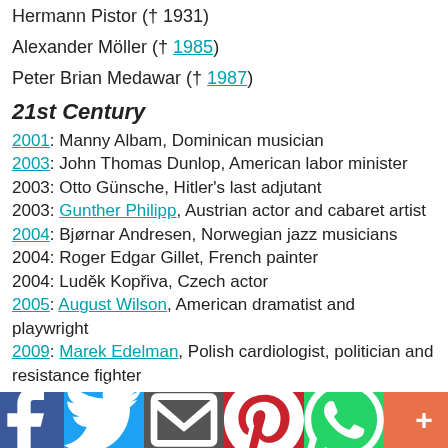Hermann Pistor († 1931)
Alexander Möller († 1985)
Peter Brian Medawar († 1987)
21st Century
2001: Manny Albam, Dominican musician
2003: John Thomas Dunlop, American labor minister
2003: Otto Günsche, Hitler's last adjutant
2003: Gunther Philipp, Austrian actor and cabaret artist
2004: Bjørnar Andresen, Norwegian jazz musicians
2004: Roger Edgar Gillet, French painter
2004: Luděk Kopřiva, Czech actor
2005: August Wilson, American dramatist and playwright
2009: Marek Edelman, Polish cardiologist, politician and resistance fighter
2009: Nat Finkelstein, American photographer
[Figure (other): Social sharing bar with buttons for Facebook, Twitter, Email, Pinterest, WhatsApp, and More]